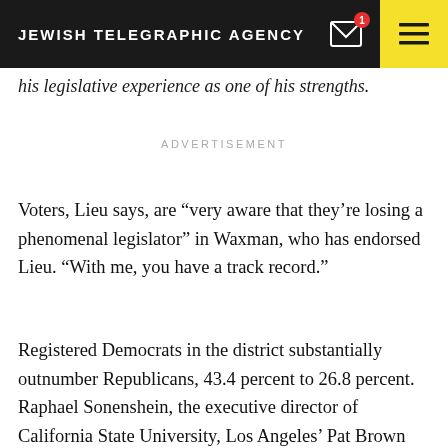JEWISH TELEGRAPHIC AGENCY
his legislative experience as one of his strengths.
ADVERTISEMENT
Voters, Lieu says, are “very aware that they’re losing a phenomenal legislator” in Waxman, who has endorsed Lieu. “With me, you have a track record.”
Registered Democrats in the district substantially outnumber Republicans, 43.4 percent to 26.8 percent. Raphael Sonenshein, the executive director of California State University, Los Angeles’ Pat Brown Institute